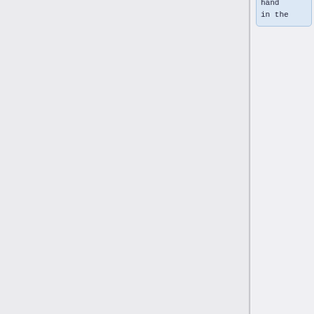worksheet will be discussed.
* In the second tutorial after you received the worksheet, there is time to work on the exercises and to ask questions for the tutor.
* You will have to hand in the